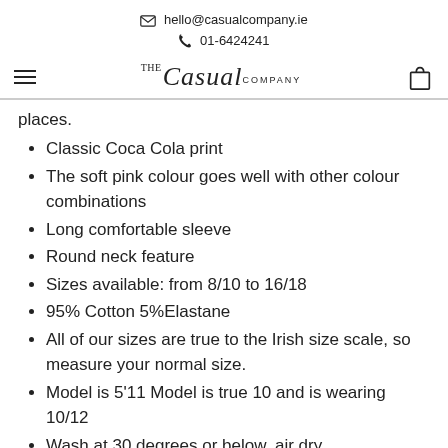✉ hello@casualcompany.ie
📞 01-6424241
places.
Classic Coca Cola print
The soft pink colour goes well with other colour combinations
Long comfortable sleeve
Round neck feature
Sizes available: from 8/10 to 16/18
95% Cotton 5%Elastane
All of our sizes are true to the Irish size scale, so measure your normal size.
Model is 5'11 Model is true 10 and is wearing 10/12
Wash at 30 degrees or below, air dry